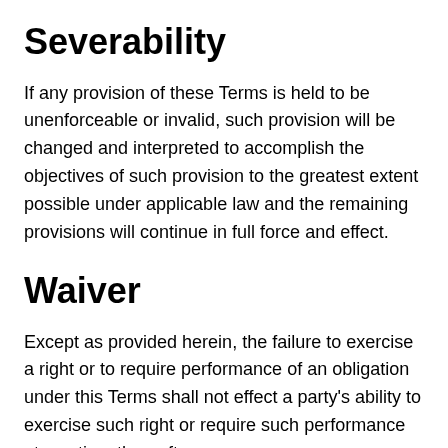Severability
If any provision of these Terms is held to be unenforceable or invalid, such provision will be changed and interpreted to accomplish the objectives of such provision to the greatest extent possible under applicable law and the remaining provisions will continue in full force and effect.
Waiver
Except as provided herein, the failure to exercise a right or to require performance of an obligation under this Terms shall not effect a party's ability to exercise such right or require such performance at any time thereafter.